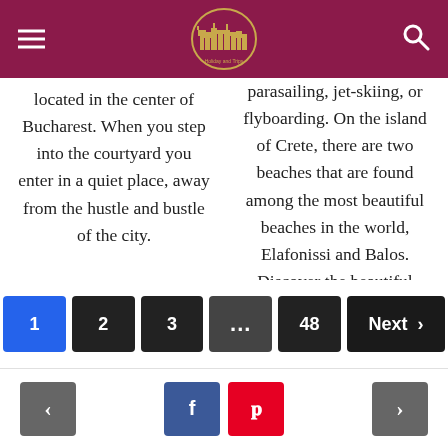Holiday and Trips logo with menu and search icons
located in the center of Bucharest. When you step into the courtyard you enter in a quiet place, away from the hustle and bustle of the city.
parasailing, jet-skiing, or flyboarding. On the island of Crete, there are two beaches that are found among the most beautiful beaches in the world, Elafonissi and Balos. Discover the beautiful beaches where you can relax in Crete.
Pagination: 1 2 3 ... 48 Next > | Social: facebook, pinterest | Nav: prev, next